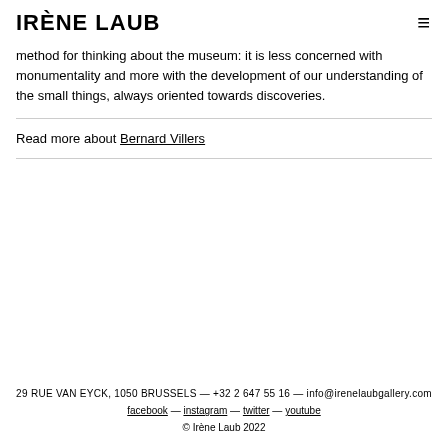IRÈNE LAUB
method for thinking about the museum: it is less concerned with monumentality and more with the development of our understanding of the small things, always oriented towards discoveries.
Read more about Bernard Villers
29 RUE VAN EYCK, 1050 BRUSSELS — +32 2 647 55 16 — info@irenelaubgallery.com
facebook — instagram — twitter — youtube
© Irène Laub 2022